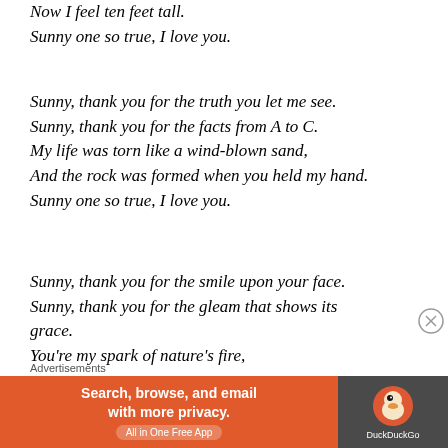Now I feel ten feet tall.
Sunny one so true, I love you.
Sunny, thank you for the truth you let me see.
Sunny, thank you for the facts from A to C.
My life was torn like a wind-blown sand,
And the rock was formed when you held my hand.
Sunny one so true, I love you.
Sunny, thank you for the smile upon your face.
Sunny, thank you for the gleam that shows its grace.
You're my spark of nature's fire,
[Figure (other): DuckDuckGo advertisement banner: orange background with text 'Search, browse, and email with more privacy. All in One Free App' and DuckDuckGo duck logo on dark right panel]